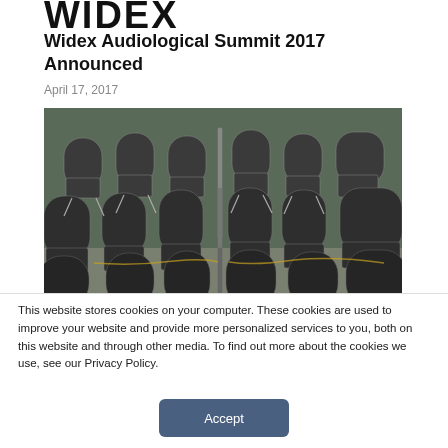Widex Audiological Summit 2017 Announced
April 17, 2017
[Figure (photo): Rows of empty grey conference chairs arranged in a banquet/conference hall setting, viewed from behind at a slight angle.]
This website stores cookies on your computer. These cookies are used to improve your website and provide more personalized services to you, both on this website and through other media. To find out more about the cookies we use, see our Privacy Policy.